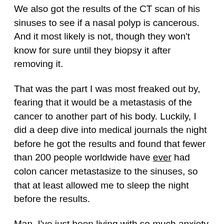We also got the results of the CT scan of his sinuses to see if a nasal polyp is cancerous. And it most likely is not, though they won't know for sure until they biopsy it after removing it.
That was the part I was most freaked out by, fearing that it would be a metastasis of the cancer to another part of his body. Luckily, I did a deep dive into medical journals the night before he got the results and found that fewer than 200 people worldwide have ever had colon cancer metastasize to the sinuses, so that at least allowed me to sleep the night before the results.
Man, I've just been living with so much anxiety over those scan results! And it's good news that the chemo is shrinking the tumors significantly and his nasal polyp doesn't look cancerous on the CT scan.
Right after I went to hear his scan results, I had an